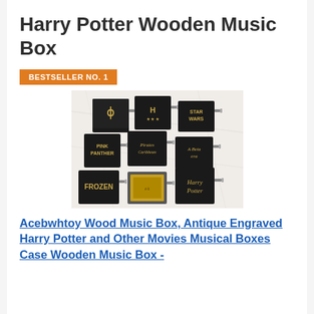Harry Potter Wooden Music Box
BESTSELLER NO. 1
[Figure (photo): Nine black wooden music boxes arranged in a 3x3 grid on a marble surface, each engraved with different movie/show logos including Harry Potter, Frozen, Pink Panther, Pirates of the Caribbean, Star Wars, and others. The boxes have gold-colored engravings and visible winding mechanisms on their sides.]
Acebwhtoy Wood Music Box, Antique Engraved Harry Potter and Other Movies Musical Boxes Case Wooden Music Box -